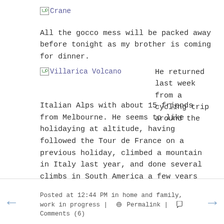[Figure (illustration): Broken image placeholder labeled 'Crane']
All the gocco mess will be packed away before tonight as my brother is coming for dinner.
[Figure (illustration): Broken image placeholder labeled 'Villarica Volcano']
He returned last week from a cycling trip around the Italian Alps with about 15 friends from Melbourne. He seems to like holidaying at altitude, having followed the Tour de France on a previous holiday, climbed a mountain in Italy last year, and done several climbs in South America a few years back.  He tells me the trip was pretty special so I'm looking forward to hearing more about it.  (He does my share of the exercise too!)
Posted at 12:44 PM in home and family, work in progress | Permalink | Comments (6)